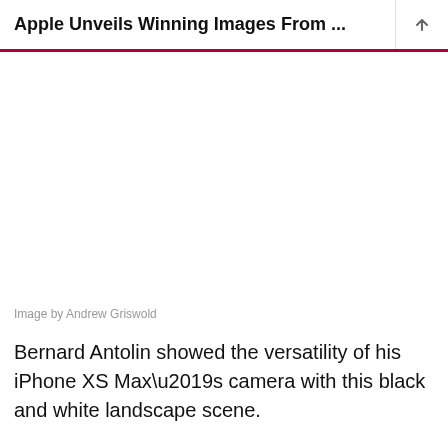Apple Unveils Winning Images From ...
[Figure (photo): White/blank image area placeholder]
Image by Andrew Griswold
Bernard Antolin showed the versatility of his iPhone XS Max’s camera with this black and white landscape scene.